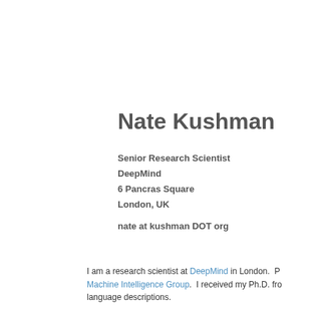Nate Kushman
Senior Research Scientist
DeepMind
6 Pancras Square
London, UK
nate at kushman DOT org
I am a research scientist at DeepMind in London.  P... Machine Intelligence Group.  I received my Ph.D. fro... language descriptions.